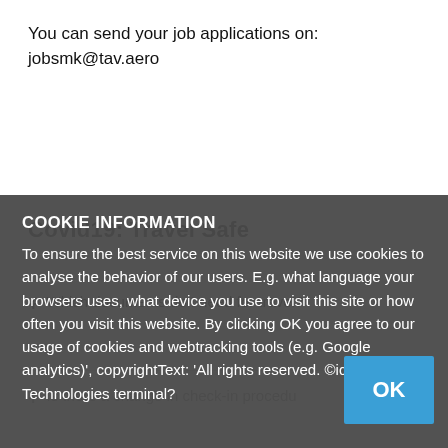You can send your job applications on:
jobsmk@tav.aero
Covid19: Travel Safe
Which documents do I need for travel?
COOKIE INFORMATION
To ensure the best service on this website we use cookies to analyse the behavior of our users. E.g. what language your browsers uses, what device you use to visit this site or how often you visit this website. By clicking OK you agree to our usage of cookies and webtracking tools (e.g. Google analytics)', copyrightText: 'All rights reserved. © ide the Technologies terminal?
Is there a change in check-in procedu